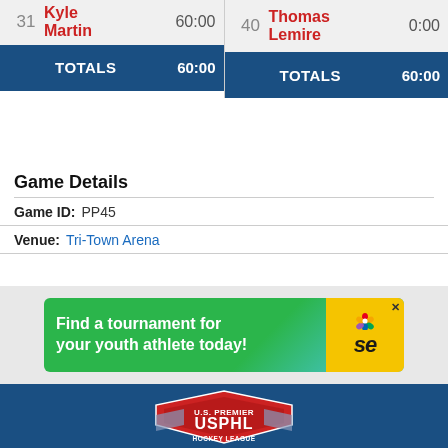| # | Name | Time |
| --- | --- | --- |
| 31 | Kyle Martin | 60:00 |
| TOTALS |  | 60:00 |
| # | Name | Time |
| --- | --- | --- |
| 40 | Thomas Lemire | 0:00 |
| TOTALS |  | 60:00 |
Game Details
Game ID: PP45
Venue: Tri-Town Arena
[Figure (infographic): Advertisement banner: 'Find a tournament for your youth athlete today!' with SE (SportsEngine) logo in yellow box]
[Figure (logo): USPHL - U.S. Premier Hockey League logo on dark blue background]